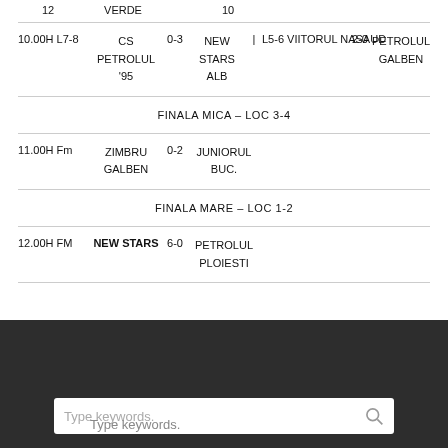12   VERDE   10
10.00H L7-8 CS PETROLUL '95  0-3  NEW STARS ALB  |  L5-6 VIITORUL NASAUD  2-0  PETROLUL GALBEN
FINALA MICA – LOC 3-4
11.00H Fm   ZIMBRU GALBEN  0-2  JUNIORUL BUC.
FINALA MARE  –  LOC 1-2
12.00H FM  NEW STARS  6-0  PETROLUL PLOIESTI
Type keywords: